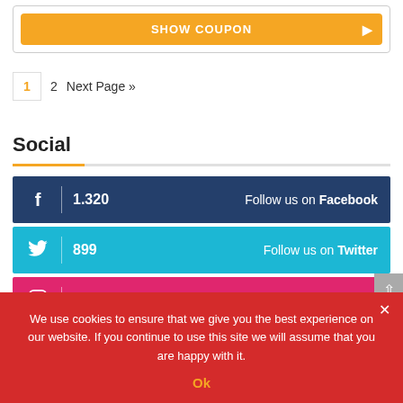SHOW COUPON
1  2  Next Page »
Social
f | 1.320  Follow us on Facebook
Twitter bird | 899  Follow us on Twitter
Instagram icon | 3.203  Fllow us on Instagram
We use cookies to ensure that we give you the best experience on our website. If you continue to use this site we will assume that you are happy with it.
Ok